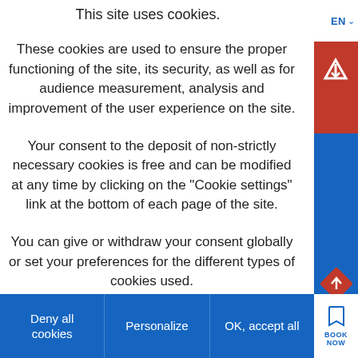This site uses cookies.
These cookies are used to ensure the proper functioning of the site, its security, as well as for audience measurement, analysis and improvement of the user experience on the site.
Your consent to the deposit of non-strictly necessary cookies is free and can be modified at any time by clicking on the "Cookie settings" link at the bottom of each page of the site.
You can give or withdraw your consent globally or set your preferences for the different types of cookies used.
Deny all cookies | Personalize | OK, accept all